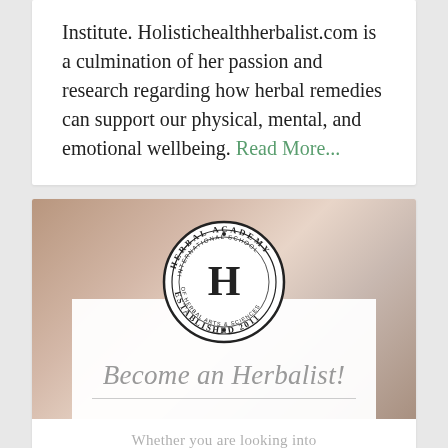Institute. Holistichealthherbalist.com is a culmination of her passion and research regarding how herbal remedies can support our physical, mental, and emotional wellbeing. Read More...
[Figure (illustration): Herbal Academy advertisement image with circular stamp logo reading 'HERBAL ACADEMY INTERNATIONAL SCHOOL OF HERBAL ARTS & SCIENCES ESTABLISHED 2011' with a large H in the center, over a background photo of herbs/food, with italic text 'Become an Herbalist!' and a horizontal divider line]
Whether you are looking into herbalism as a hobby or personal